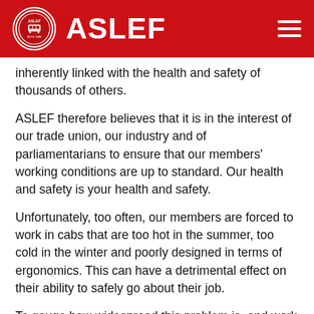ASLEF
inherently linked with the health and safety of thousands of others.
ASLEF therefore believes that it is in the interest of our trade union, our industry and of parliamentarians to ensure that our members' working conditions are up to standard. Our health and safety is your health and safety.
Unfortunately, too often, our members are forced to work in cabs that are too hot in the summer, too cold in the winter and poorly designed in terms of ergonomics. This can have a detrimental effect on their ability to safely go about their job.
To gauge how widespread this problem is, and work out what the key issues are, we surveyed our